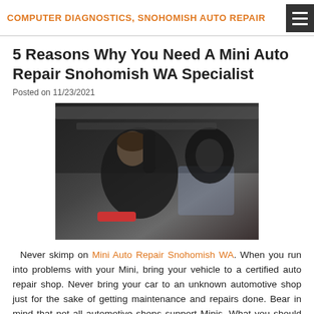COMPUTER DIAGNOSTICS, SNOHOMISH AUTO REPAIR
5 Reasons Why You Need A Mini Auto Repair Snohomish WA Specialist
Posted on 11/23/2021
[Figure (photo): A mechanic working underneath a car, reaching up toward the undercarriage with tools visible including a red tool on the ground, dark workshop background with window light.]
Never skimp on Mini Auto Repair Snohomish WA. When you run into problems with your Mini, bring your vehicle to a certified auto repair shop. Never bring your car to an unknown automotive shop just for the sake of getting maintenance and repairs done. Bear in mind that not all automotive shops support Minis. What you should do is find a reputable auto repair shop. Reputable automotive shops usually